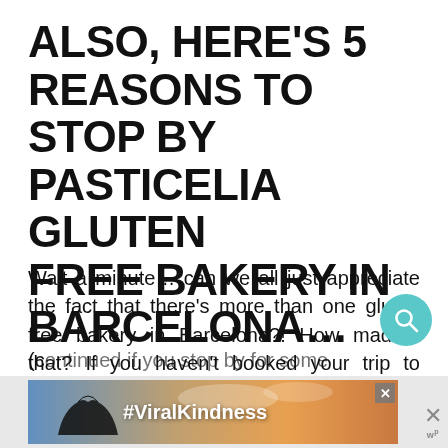ALSO, HERE'S 5 REASONS TO STOP BY PASTICELIA GLUTEN FREE BAKERY IN BARCELONA...
Wait a minute… can we all just appreciate the fact that there's more than one gluten free bakery in Barcelona?! How mad is that? If you haven't booked your trip to Barcelona yet, then what are you waiting for?! If you need convincing then read on for 5 reasons to stop by Pasticelia Gluten Free Bakery in Barcelona…
[Figure (other): Advertisement banner with #ViralKindness hashtag, showing hands forming a heart shape against a sunset sky background, with a close button.]